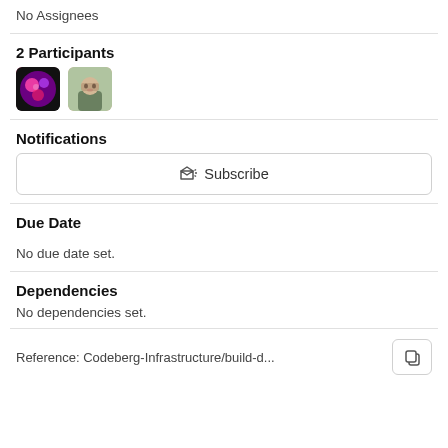No Assignees
2 Participants
[Figure (illustration): Two participant avatar thumbnails side by side]
Notifications
Subscribe button
Due Date
No due date set.
Dependencies
No dependencies set.
Reference: Codeberg-Infrastructure/build-d...